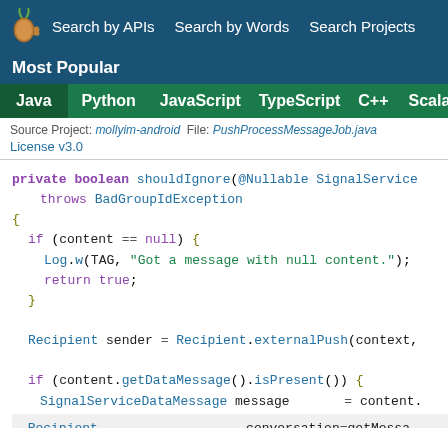Search by APIs   Search by Words   Search Projects
Most Popular
Java   Python   JavaScript   TypeScript   C++   Scala
Source Project: mollyim-android   File: PushProcessMessageJob.java
License v3.0
private boolean shouldIgnore(@Nullable SignalService
    throws BadGroupIdException
{
  if (content == null) {
    Log.w(TAG, "Got a message with null content.");
    return true;
  }

  Recipient sender = Recipient.externalPush(context,

  if (content.getDataMessage().isPresent()) {
    SignalServiceDataMessage message      = content.
    Recipient                conversation = getMessa